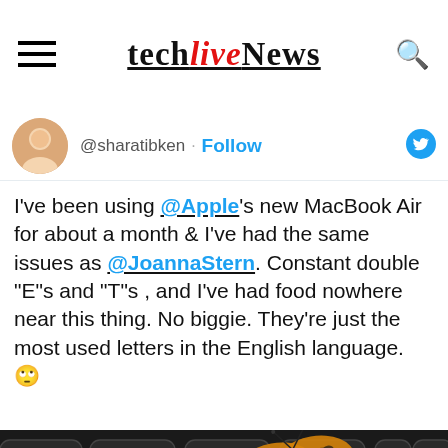techliveNews
@sharatibken · Follow
I've been using @Apple's new MacBook Air for about a month & I've had the same issues as @JoannaStern. Constant double "E"s and "T"s , and I've had food nowhere near this thing. No biggie. They're just the most used letters in the English language. 🙄
[Figure (photo): MacBook keyboard with butterfly keys visible (R, T, Y, I, O, F, G, K keys visible) and an orange butterfly resting on the keys]